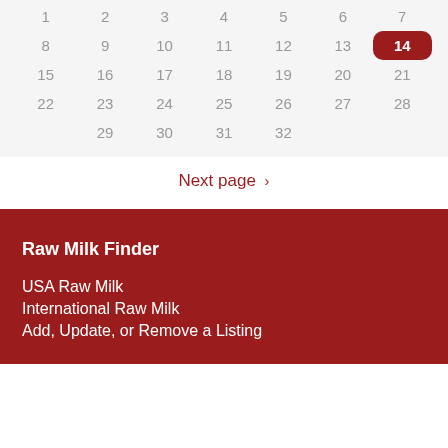| 1 | 2 | 3 | 4 | 5 | 6 | 7 |
| 8 | 9 | 10 | 11 | 12 | 13 | 14 |
| 15 | 16 | 17 | 18 | 19 | 20 | 21 |
| 22 | 23 | 24 | 25 | 26 | 27 | 28 |
|  | 29 | 30 | 31 | 32 |  |  |
Next page ›
Raw Milk Finder
USA Raw Milk
International Raw Milk
Add, Update, or Remove a Listing